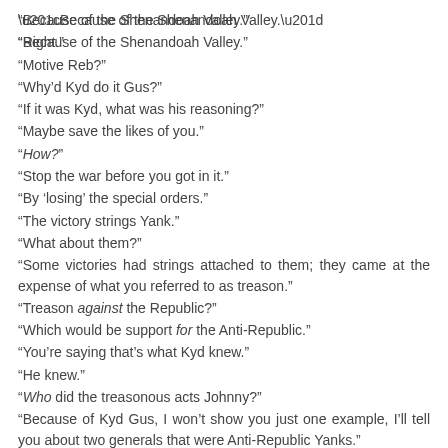“Because of the Shenandoah Valley.”
“Right.”
“Motive Reb?”
“Why’d Kyd do it Gus?”
“If it was Kyd, what was his reasoning?”
“Maybe save the likes of you.”
“How?”
“Stop the war before you got in it.”
“By ‘losing’ the special orders.”
“The victory strings Yank.”
“What about them?”
“Some victories had strings attached to them; they came at the expense of what you referred to as treason.”
“Treason against the Republic?”
“Which would be support for the Anti-Republic.”
“You’re saying that’s what Kyd knew.”
“He knew.”
“Who did the treasonous acts Johnny?”
“Because of Kyd Gus, I won’t show you just one example, I’ll tell you about two generals that were Anti-Republic Yanks.”